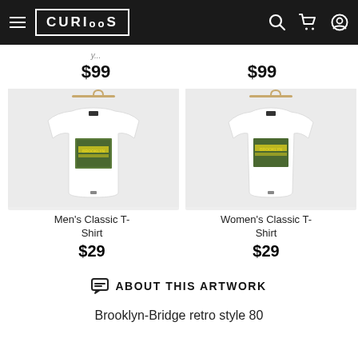CURIOOS navigation bar
$99   $99
[Figure (photo): Men's Classic T-Shirt with Brooklyn Bridge retro style 80 graphic print on a hanger, white shirt on light gray background]
Men's Classic T-Shirt
$29
[Figure (photo): Women's Classic T-Shirt with Brooklyn Bridge retro style 80 graphic print on a hanger, white shirt on light gray background]
Women's Classic T-Shirt
$29
ABOUT THIS ARTWORK
Brooklyn-Bridge retro style 80